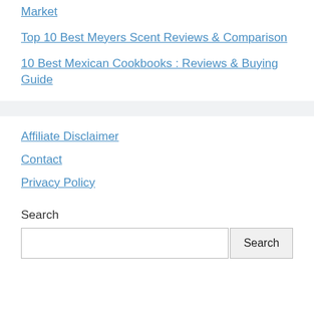Market
Top 10 Best Meyers Scent Reviews & Comparison
10 Best Mexican Cookbooks : Reviews & Buying Guide
Affiliate Disclaimer
Contact
Privacy Policy
Search